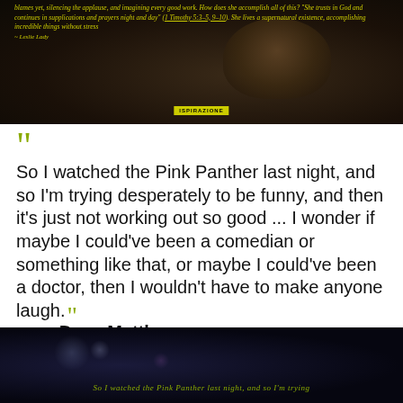[Figure (photo): Dark background image with a cat silhouette on wooden floor, with yellow italic text overlay quoting Leslie Lady about trusting in God, supplications and prayers night and day (1 Timothy reference). A yellow button/label at the bottom center.]
So I watched the Pink Panther last night, and so I'm trying desperately to be funny, and then it's just not working out so good ... I wonder if maybe I could've been a comedian or something like that, or maybe I could've been a doctor, then I wouldn't have to make anyone laugh. ” — Dave Matthews
[Figure (photo): Dark space-like background with bokeh light orbs and a faint purple glow, with yellow-green italic text at the bottom reading: So I watched the Pink Panther last night, and so I'm trying]